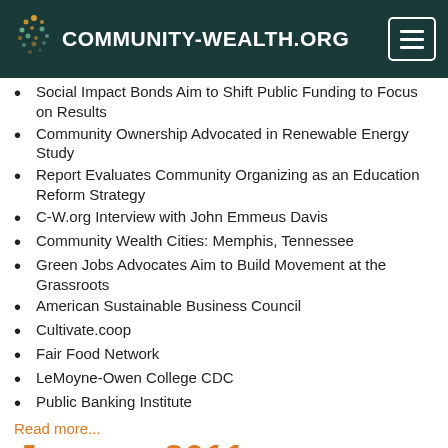COMMUNITY-WEALTH.ORG
Social Impact Bonds Aim to Shift Public Funding to Focus on Results
Community Ownership Advocated in Renewable Energy Study
Report Evaluates Community Organizing as an Education Reform Strategy
C-W.org Interview with John Emmeus Davis
Community Wealth Cities: Memphis, Tennessee
Green Jobs Advocates Aim to Build Movement at the Grassroots
American Sustainable Business Council
Cultivate.coop
Fair Food Network
LeMoyne-Owen College CDC
Public Banking Institute
Read more...
January 2011